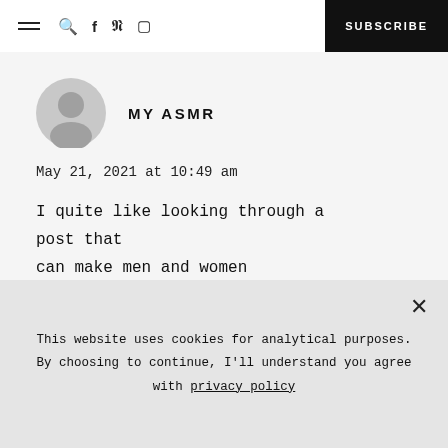≡ 🔍 f ℗ ⊡  SUBSCRIBE
[Figure (illustration): Grey default user avatar circle icon]
MY ASMR
May 21, 2021 at 10:49 am
I quite like looking through a post that can make men and women
This website uses cookies for analytical purposes. By choosing to continue, I'll understand you agree with privacy policy